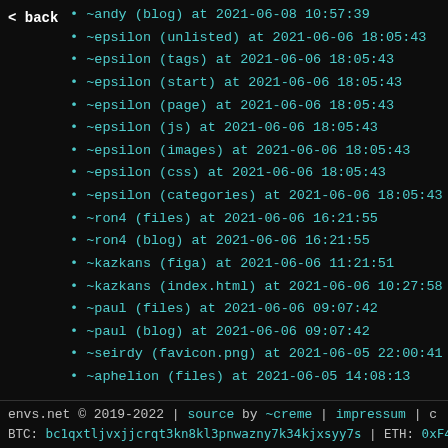< back
~andy (blog) at 2021-06-08 10:57:39
~epsilon (unlisted) at 2021-06-06 18:05:43
~epsilon (tags) at 2021-06-06 18:05:43
~epsilon (start) at 2021-06-06 18:05:43
~epsilon (page) at 2021-06-06 18:05:43
~epsilon (js) at 2021-06-06 18:05:43
~epsilon (images) at 2021-06-06 18:05:43
~epsilon (css) at 2021-06-06 18:05:43
~epsilon (categories) at 2021-06-06 18:05:43
~ron4 (files) at 2021-06-06 16:21:55
~ron4 (blog) at 2021-06-06 16:21:55
~kazkans (figa) at 2021-06-06 11:21:51
~kazkans (index.html) at 2021-06-06 10:27:58
~paul (files) at 2021-06-06 09:07:42
~paul (blog) at 2021-06-06 09:07:42
~seirdy (favicon.png) at 2021-06-05 22:00:41
~aphelion (files) at 2021-06-05 14:08:13
envs.net © 2019-2022 | source by ~creme | impressum | c
BTC: bc1qxtljvxjjcrqt3kn8kl3pnwazny7k34kjxsyy7s | ETH: 0xF481f6a7